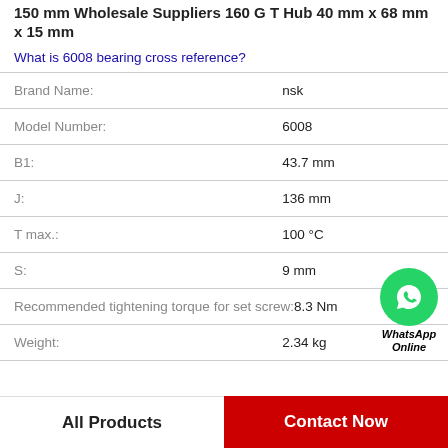150 mm Wholesale Suppliers 160 G T Hub 40 mm x 68 mm x 15 mm
What is 6008 bearing cross reference?
| Property | Value |
| --- | --- |
| Brand Name: | nsk |
| Model Number: | 6008 |
| B1: | 43.7 mm |
| J: | 136 mm |
| T max.: | 100 °C |
| S: | 9 mm |
| Recommended tightening torque for set screw: | 8.3 Nm |
| Weight: | 2.34 kg |
[Figure (illustration): WhatsApp Online badge with green phone icon circle]
All Products
Contact Now